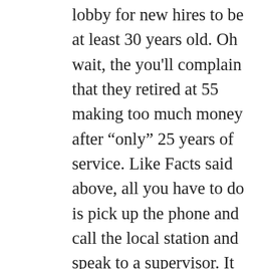lobby for new hires to be at least 30 years old. Oh wait, the you'll complain that they retired at 55 making too much money after “only” 25 years of service. Like Facts said above, all you have to do is pick up the phone and call the local station and speak to a supervisor. It will be investigated. But I understand it’s easier for you to slam an entire group of people instead. We could go on for hours about OUR experiences with those in the “high tech customer service industry!” Grow up Sammy, you don’t need papa